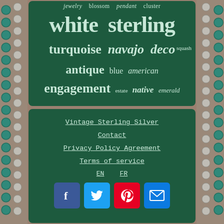[Figure (infographic): Word cloud on dark green background with jewelry-related terms in varying sizes. Words include: jewelry, blossom, pendant, cluster, white, sterling, turquoise, navajo, deco, squash, antique, blue, american, engagement, estate, native, emerald. Flanked by silver and turquoise beaded necklace on grey background.]
Vintage Sterling Silver
Contact
Privacy Policy Agreement
Terms of service
EN   FR
[Figure (infographic): Social media icons: Facebook (blue), Twitter (blue), Pinterest (red), Email (blue)]